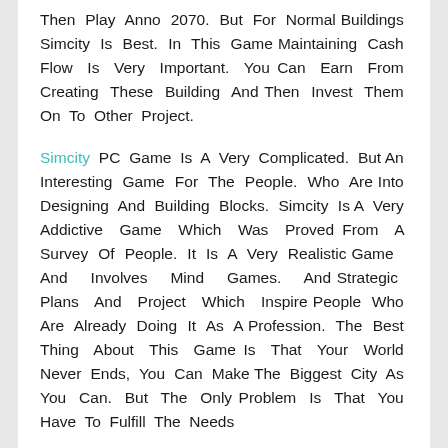Then Play Anno 2070. But For Normal Buildings Simcity Is Best. In This Game Maintaining Cash Flow Is Very Important. You Can Earn From Creating These Building And Then Invest Them On To Other Project.
Simcity PC Game Is A Very Complicated. But An Interesting Game For The People. Who Are Into Designing And Building Blocks. Simcity Is A Very Addictive Game Which Was Proved From A Survey Of People. It Is A Very Realistic Game And Involves Mind Games. And Strategic Plans And Project Which Inspire People Who Are Already Doing It As A Profession. The Best Thing About This Game Is That Your World Never Ends, You Can Make The Biggest City As You Can. But The Only Problem Is That You Have To Fulfill The Needs